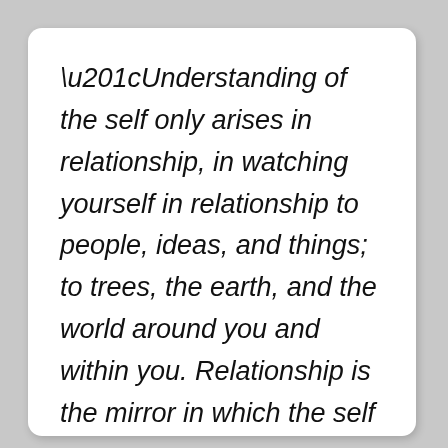“Understanding of the self only arises in relationship, in watching yourself in relationship to people, ideas, and things; to trees, the earth, and the world around you and within you. Relationship is the mirror in which the self is revealed.